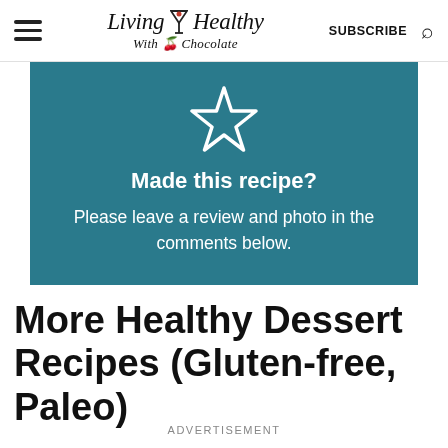Living Healthy With Chocolate — SUBSCRIBE
[Figure (infographic): Teal box with a star outline icon and text: Made this recipe? Please leave a review and photo in the comments below.]
More Healthy Dessert Recipes (Gluten-free, Paleo)
ADVERTISEMENT